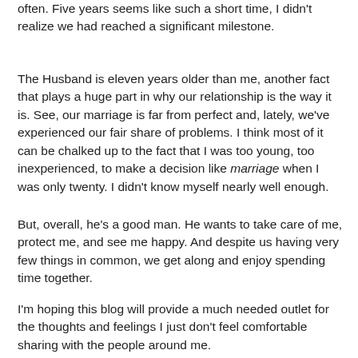often. Five years seems like such a short time, I didn't realize we had reached a significant milestone.
The Husband is eleven years older than me, another fact that plays a huge part in why our relationship is the way it is. See, our marriage is far from perfect and, lately, we've experienced our fair share of problems. I think most of it can be chalked up to the fact that I was too young, too inexperienced, to make a decision like marriage when I was only twenty. I didn't know myself nearly well enough.
But, overall, he's a good man. He wants to take care of me, protect me, and see me happy. And despite us having very few things in common, we get along and enjoy spending time together.
I'm hoping this blog will provide a much needed outlet for the thoughts and feelings I just don't feel comfortable sharing with the people around me.
Update June 5, 2013: This post makes me want to barf. But I'm going to keep it and deal with my past mistakes (both in